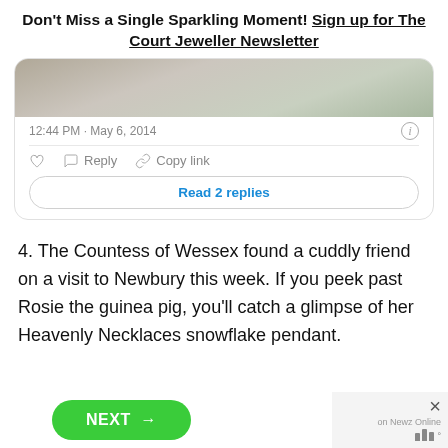Don't Miss a Single Sparkling Moment! Sign up for The Court Jeweller Newsletter
[Figure (screenshot): Embedded tweet card showing a photo (partial, cropped at top) and tweet metadata: 12:44 PM · May 6, 2014, with like, reply, copy link actions and a 'Read 2 replies' button]
4. The Countess of Wessex found a cuddly friend on a visit to Newbury this week. If you peek past Rosie the guinea pig, you'll catch a glimpse of her Heavenly Necklaces snowflake pendant.
[Figure (screenshot): NEXT button (green, rounded) and advertisement area with X close button and 'on Newz Online' label with logo bars]